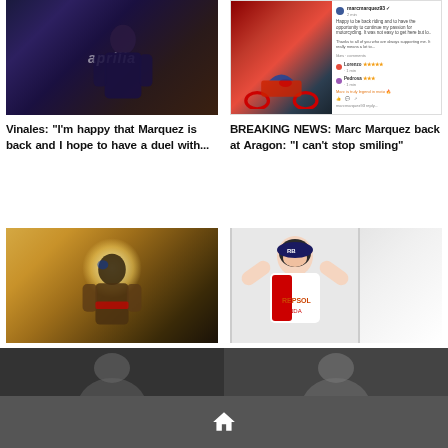[Figure (photo): MotoGP rider Vinales in Aprilia racing gear, sitting in pit area]
Vinales: "I'm happy that Marquez is back and I hope to have a duel with..."
[Figure (screenshot): Marc Marquez on Honda racing motorcycle on track, with social media post comments overlay]
BREAKING NEWS: Marc Marquez back at Aragon: “I can’t stop smiling”
[Figure (photo): MotoGP rider close-up with sun flare, wearing Repsol Honda gear]
Marquez: "My passion remains the same, like Nadal I want to get back to..."
[Figure (photo): Marc Marquez flexing arms in Repsol Honda team gear indoors]
VIDEO - Marquez passes physical: “We now have kilometers to cover”
[Figure (photo): Partial bottom image left - rider in dark setting]
[Figure (photo): Partial bottom image right - person in dark setting]